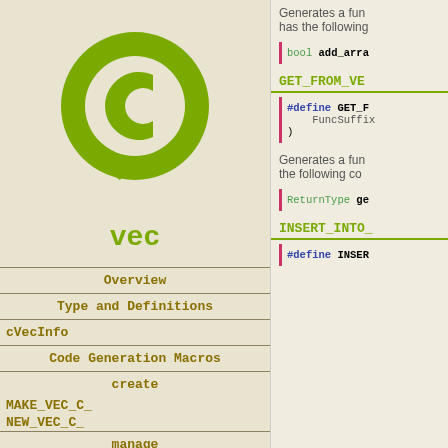[Figure (logo): Green C logo (chat bubble with letter C) for vec library]
vec
Overview
Type and Definitions
cVecInfo
Code Generation Macros
create
MAKE_VEC_C_
NEW_VEC_C_
manage
DATA_OF_VEC_C_
Generates a func... has the following...
bool add_arra
GET_FROM_VE
#define GET_F FuncSuffix )
Generates a func... the following co...
ReturnType ge
INSERT_INTO_
#define INSER